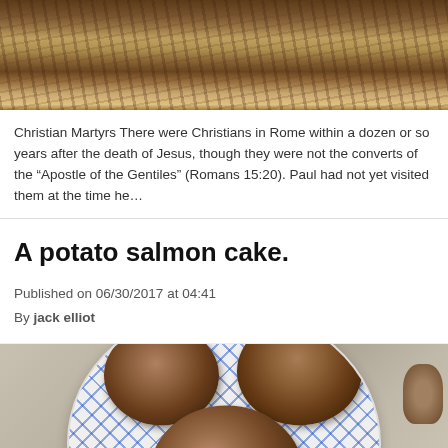[Figure (photo): Historical painting of Christian Martyrs in Rome, showing a crowd scene with figures in ancient Roman setting]
Christian Martyrs There were Christians in Rome within a dozen or so years after the death of Jesus, though they were not the converts of the “Apostle of the Gentiles” (Romans 15:20). Paul had not yet visited them at the time he…
A potato salmon cake.
Published on 06/30/2017 at 04:41
By jack elliot
[Figure (photo): A plate with blue checkered pattern holding three golden-brown pan-fried potato salmon cakes, photographed from above on a light gray table surface]